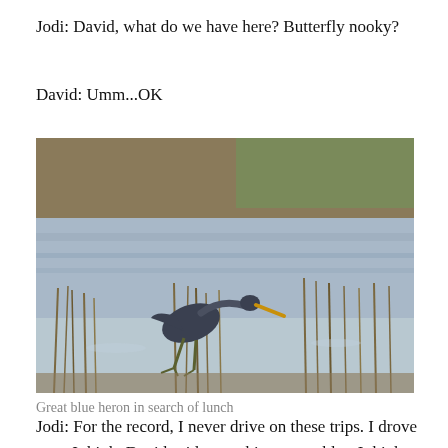Jodi:  David, what do we have here? Butterfly nooky?
David:  Umm...OK
[Figure (photo): A great blue heron wading through a marshy wetland, surrounded by tall dry grasses and reeds, with shallow water and vegetation in the background.]
Great blue heron in search of lunch
Jodi:  For the record, I never drive on these trips.  I drove once I think.    David said everything was a blur, I think